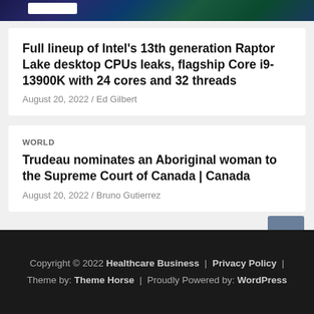[Figure (photo): Dark blue/green tinted image strip at top of page with a white label element visible]
Full lineup of Intel’s 13th generation Raptor Lake desktop CPUs leaks, flagship Core i9-13900K with 24 cores and 32 threads
August 20, 2022 / Ed Gilbert
WORLD
Trudeau nominates an Aboriginal woman to the Supreme Court of Canada | Canada
August 20, 2022 / Bruno Gutierrez
Copyright © 2022 Healthcare Business | Privacy Policy | Theme by: Theme Horse | Proudly Powered by: WordPress